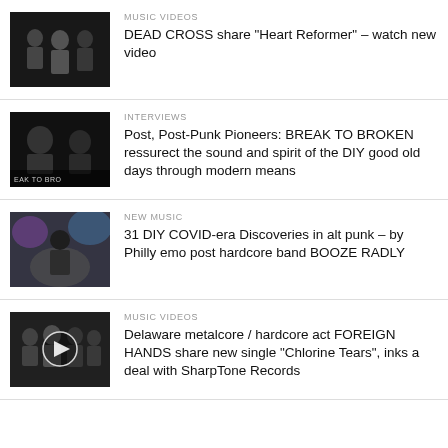[Figure (photo): Black and white photo of band members (Dead Cross)]
MUSIC VIDEOS
DEAD CROSS share "Heart Reformer" – watch new video
[Figure (photo): Black and white photo of band members (Break to Broken)]
INTERVIEWS
Post, Post-Punk Pioneers: BREAK TO BROKEN ressurect the sound and spirit of the DIY good old days through modern means
[Figure (photo): Color photo of band performing (Booze Radly)]
NEW MUSIC
31 DIY COVID-era Discoveries in alt punk – by Philly emo post hardcore band BOOZE RADLY
[Figure (photo): Color photo of band with play button overlay (Foreign Hands)]
MUSIC VIDEOS
Delaware metalcore / hardcore act FOREIGN HANDS share new single "Chlorine Tears", inks a deal with SharpTone Records